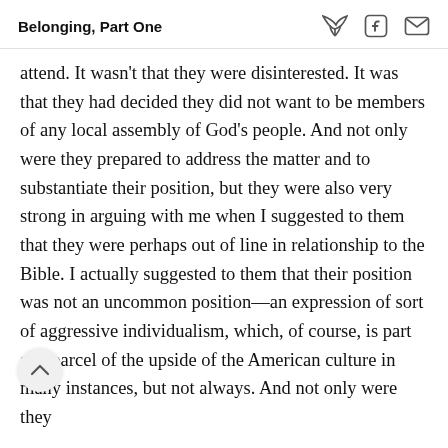Belonging, Part One
attend. It wasn't that they were disinterested. It was that they had decided they did not want to be members of any local assembly of God's people. And not only were they prepared to address the matter and to substantiate their position, but they were also very strong in arguing with me when I suggested to them that they were perhaps out of line in relationship to the Bible. I actually suggested to them that their position was not an uncommon position—an expression of sort of aggressive individualism, which, of course, is part and parcel of the upside of the American culture in many instances, but not always. And not only were they